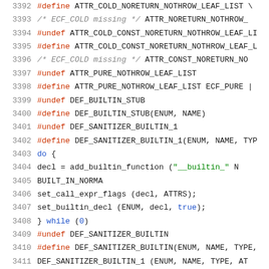[Figure (screenshot): Source code listing showing C preprocessor macro definitions for compiler built-in functions, lines 3392-3413, with syntax highlighting: red for preprocessor directives, blue for keywords, green for strings, grey for comments and line numbers.]